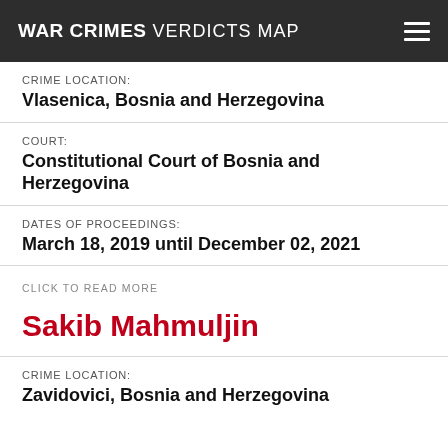WAR CRIMES VERDICTS MAP
CRIME LOCATION:
Vlasenica, Bosnia and Herzegovina
COURT:
Constitutional Court of Bosnia and Herzegovina
DATES OF PROCEEDINGS:
March 18, 2019 until December 02, 2021
CLICK TO READ MORE
Sakib Mahmuljin
CRIME LOCATION:
Zavidovici, Bosnia and Herzegovina